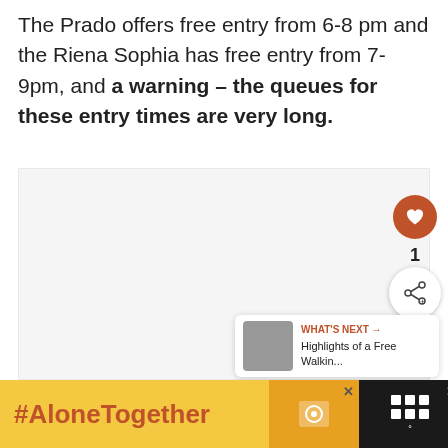The Prado offers free entry from 6-8 pm and the Riena Sophia has free entry from 7-9pm, and a warning – the queues for these entry times are very long.
[Figure (photo): Image area (appears empty/placeholder) with social interaction buttons: a heart/like button (orange circle with heart icon, count of 1), and a share button. A 'WHAT'S NEXT' panel with a thumbnail and text 'Highlights of a Free Walkin...']
#AloneTogether